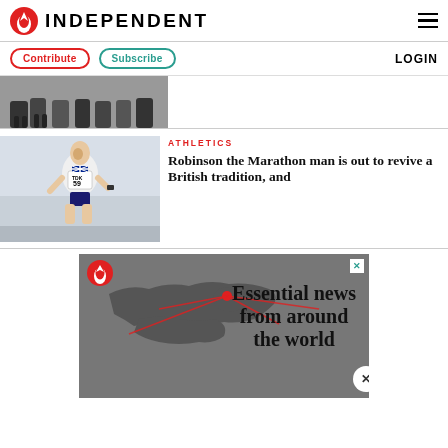INDEPENDENT
Contribute  Subscribe  LOGIN
[Figure (photo): Partial photo of runners' legs in a race]
ATHLETICS
Robinson the Marathon man is out to revive a British tradition, and
[Figure (photo): Runner wearing race bib number 59 with TDK sponsor, British athletic uniform]
[Figure (photo): Advertisement showing world map with Independent eagle logo and text: Essential news from around the world]